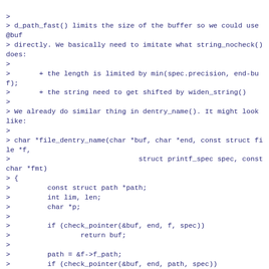>
> d_path_fast() limits the size of the buffer so we could use @buf
> directly. We basically need to imitate what string_nocheck() does:
>
>       + the length is limited by min(spec.precision, end-buf);
>       + the string need to get shifted by widen_string()
>
> We already do similar thing in dentry_name(). It might look like:
>
> char *file_dentry_name(char *buf, char *end, const struct file *f,
>                               struct printf_spec spec, const char *fmt)
> {
>         const struct path *path;
>         int lim, len;
>         char *p;
>
>         if (check_pointer(&buf, end, f, spec))
>                 return buf;
>
>         path = &f->f_path;
>         if (check_pointer(&buf, end, path, spec))
>                 return buf;